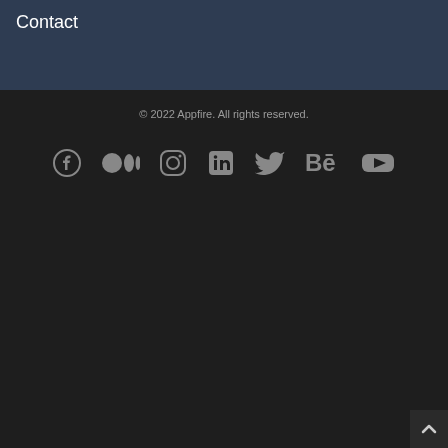Contact
© 2022 Appfire. All rights reserved.
[Figure (illustration): Row of 7 social media icons: Facebook, Medium, Instagram, LinkedIn, Twitter, Behance, YouTube — all rendered in grey on dark background]
[Figure (illustration): Back-to-top button (upward arrow) in bottom-right corner]